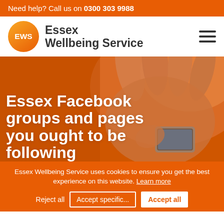Need help? Call us on 0300 303 9988
[Figure (logo): Essex Wellbeing Service logo with EWS orange circle and text]
[Figure (photo): Close-up photo of hands holding a smartphone, orange-tinted]
Essex Facebook groups and pages you ought to be following
Essex Wellbeing Service uses cookies to ensure you get the best experience on this website. Learn more
Reject all   Accept specific...   Accept all